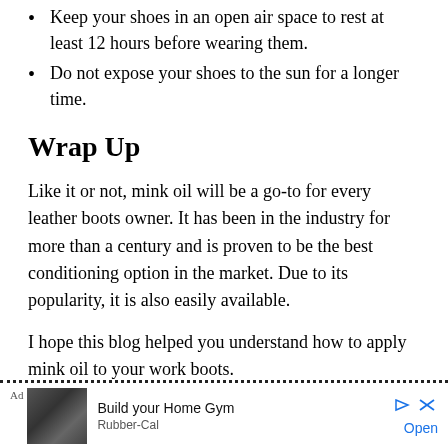Keep your shoes in an open air space to rest at least 12 hours before wearing them.
Do not expose your shoes to the sun for a longer time.
Wrap Up
Like it or not, mink oil will be a go-to for every leather boots owner. It has been in the industry for more than a century and is proven to be the best conditioning option in the market. Due to its popularity, it is also easily available.
I hope this blog helped you understand how to apply mink oil to your work boots.
[Figure (other): Advertisement banner: Build your Home Gym, Rubber-Cal, with ad image of gym equipment]